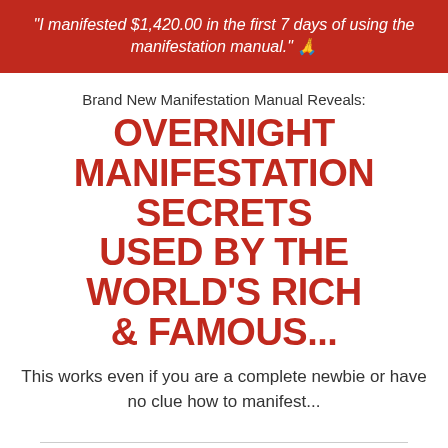"I manifested $1,420.00 in the first 7 days of using the manifestation manual." 🙏
Brand New Manifestation Manual Reveals:
OVERNIGHT MANIFESTATION SECRETS USED BY THE WORLD'S RICH & FAMOUS...
This works even if you are a complete newbie or have no clue how to manifest...
[Figure (photo): Circular cropped photo of a smiling man, partially visible at the bottom of the page]